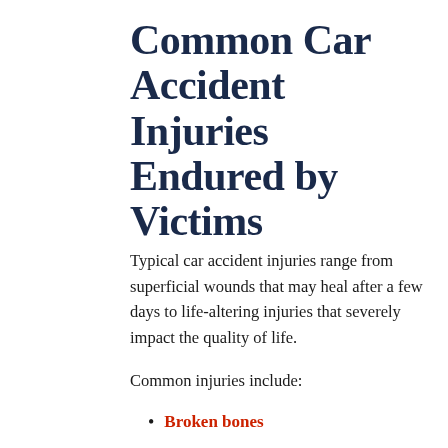Common Car Accident Injuries Endured by Victims
Typical car accident injuries range from superficial wounds that may heal after a few days to life-altering injuries that severely impact the quality of life.
Common injuries include:
Broken bones